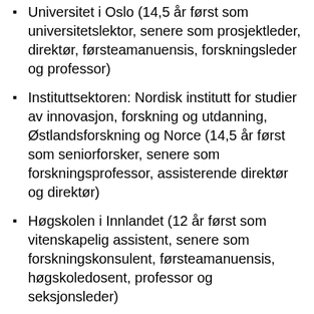Universitet i Oslo (14,5 år først som universitetslektor, senere som prosjektleder, direktør, førsteamanuensis, forskningsleder og professor)
Instituttsektoren: Nordisk institutt for studier av innovasjon, forskning og utdanning, Østlandsforskning og Norce (14,5 år først som seniorforsker, senere som forskningsprofessor, assisterende direktør og direktør)
Høgskolen i Innlandet (12 år først som vitenskapelig assistent, senere som forskningskonsulent, førsteamanuensis, høgskoledosent, professor og seksjonsleder)
Høgskoledosent/professor II ved Høgskolen i Innlandet og Universitetet i Tromsø – Norges arktiske universitet, samt universitetslektor II ved